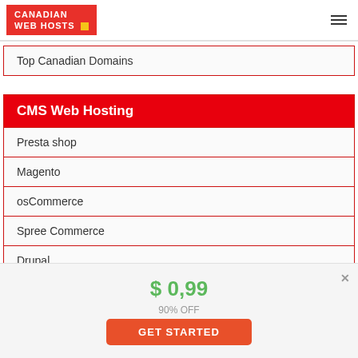[Figure (logo): Canadian Web Hosts logo — red rectangle with white bold uppercase text and yellow square]
Top Canadian Domains
CMS Web Hosting
Presta shop
Magento
osCommerce
Spree Commerce
Drupal
$ 0,99
90% OFF
GET STARTED